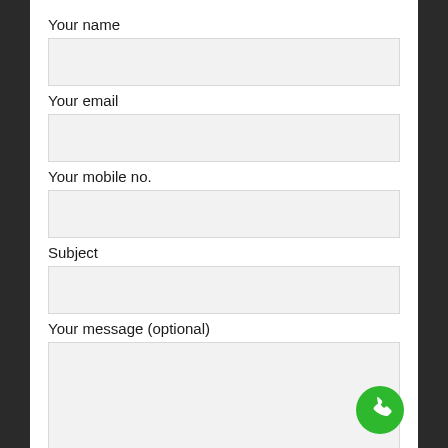Your name
Your email
Your mobile no.
Subject
Your message (optional)
[Figure (other): Green circular phone/call button in bottom right corner]